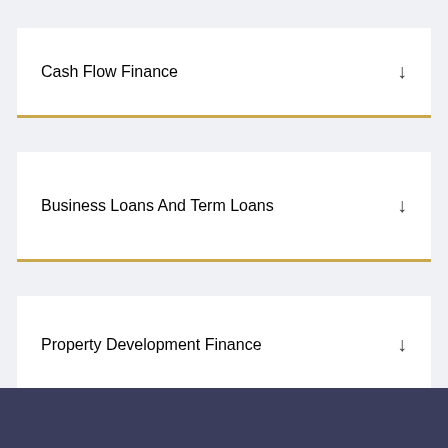Cash Flow Finance
Business Loans And Term Loans
Property Development Finance